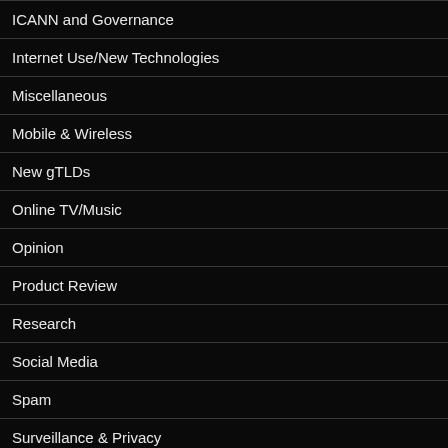ICANN and Governance
Internet Use/New Technologies
Miscellaneous
Mobile & Wireless
New gTLDs
Online TV/Music
Opinion
Product Review
Research
Social Media
Spam
Surveillance & Privacy
Telecommunications